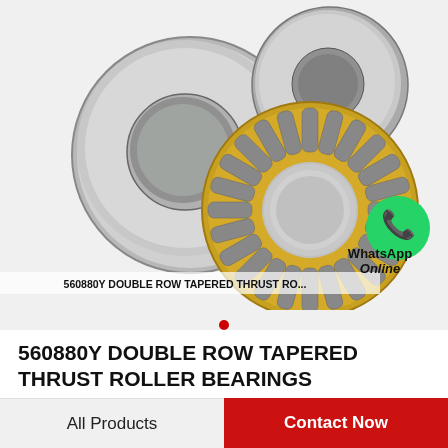[Figure (photo): 560880Y double row tapered thrust roller bearing components: two steel washers (races) and one brass cage with cylindrical rollers, shown disassembled on white background. WhatsApp Online label with green WhatsApp icon visible at right. Caption reads: 560880Y DOUBLE ROW TAPERED THRUST ROLLER BEARINGS]
560880Y DOUBLE ROW TAPERED THRUST ROLLER BEARINGS
All Products
Contact Now